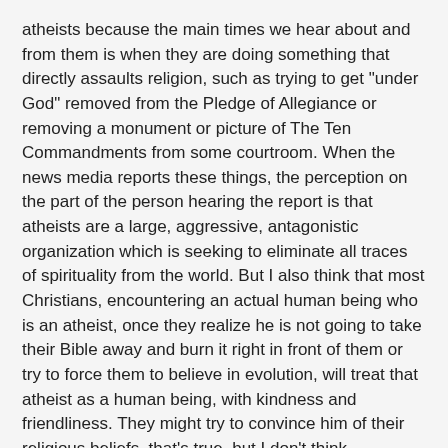atheists because the main times we hear about and from them is when they are doing something that directly assaults religion, such as trying to get "under God" removed from the Pledge of Allegiance or removing a monument or picture of The Ten Commandments from some courtroom. When the news media reports these things, the perception on the part of the person hearing the report is that atheists are a large, aggressive, antagonistic organization which is seeking to eliminate all traces of spirituality from the world. But I also think that most Christians, encountering an actual human being who is an atheist, once they realize he is not going to take their Bible away and burn it right in front of them or try to force them to believe in evolution, will treat that atheist as a human being, with kindness and friendliness. They might try to convince him of their religious beliefs, that's true, but I don't think Christians as a whole seek out atheists in order to cause any kind of harm to them. I think it's a case of being fearful of "atheists" but not of "an atheist."
But let's talk about that "large atheist organization" that Christians may perceive. Hemant seems to say that it does not exist, that atheists tend to be more individualistic about